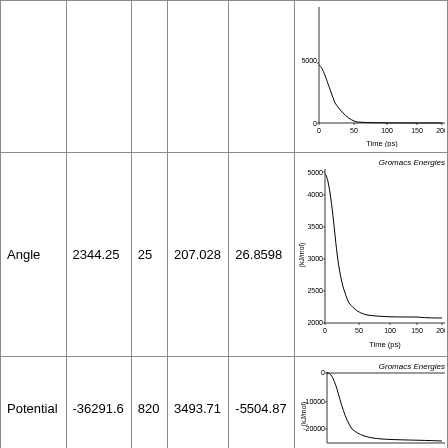|  |  |  |  |  | Chart |
| --- | --- | --- | --- | --- | --- |
|  |  |  |  |  | Gromacs Energies chart (decay ~5000 to ~0) |
| Angle | 2344.25 | 25 | 207.028 | 26.8598 | Gromacs Energies chart (angle energy ~2500-5000 decay) |
| Potential | -36291.6 | 820 | 3493.71 | -5504.87 | Gromacs Energies chart (potential ~0 to -10000 to -20000) |
[Figure (continuous-plot): Gromacs Energies plot, y-axis 0-5000 kJ/mol, x-axis Time (ps) 0-200, line decays sharply from ~5000 to near 0]
[Figure (continuous-plot): Gromacs Energies plot for Angle energy, y-axis 2000-5000 kJ/mol, x-axis Time (ps) 0-200, line decays from ~5000 to ~2200 then rises slightly]
[Figure (continuous-plot): Gromacs Energies plot for Potential, y-axis from 0 to -20000+ kJ/mol, x-axis Time (ps), line goes down steeply]